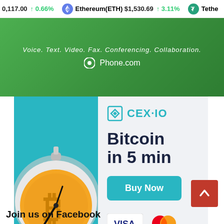0,117.00 ↑ 0.66% Ethereum(ETH) $1,530.69 ↑ 3.11% Tethe
[Figure (screenshot): Green banner advertisement for Phone.com with text: Voice. Text. Video. Fax. Conferencing. Collaboration. with Phone.com logo]
[Figure (screenshot): CEX.IO advertisement showing Bitcoin in 5 min with Buy Now button and Visa/Mastercard payment logos, with a stopwatch containing a bitcoin coin on the left]
Join us on Facebook